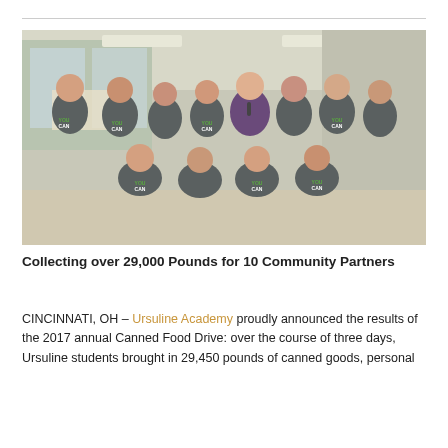[Figure (photo): Group photo of approximately 12 young women wearing gray 'YOU CAN' t-shirts in a school hallway, posing with one adult woman in a purple blazer holding a microphone. Students are arranged in two rows — standing in back and kneeling/crouching in front.]
Collecting over 29,000 Pounds for 10 Community Partners
CINCINNATI, OH – Ursuline Academy proudly announced the results of the 2017 annual Canned Food Drive: over the course of three days, Ursuline students brought in 29,450 pounds of canned goods, personal